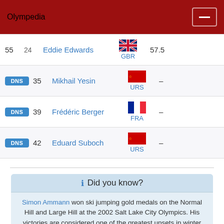Olympedia
| Rank | Bib | Athlete | Country | Score |
| --- | --- | --- | --- | --- |
| 55 | 24 | Eddie Edwards | GBR | 57.5 |
| DNS | 35 | Mikhail Yesin | URS | – |
| DNS | 39 | Frédéric Berger | FRA | – |
| DNS | 42 | Eduard Suboch | URS | – |
Did you know?
Simon Ammann won ski jumping gold medals on the Normal Hill and Large Hill at the 2002 Salt Lake City Olympics. His victories are considered one of the greatest upsets in winter sports history.